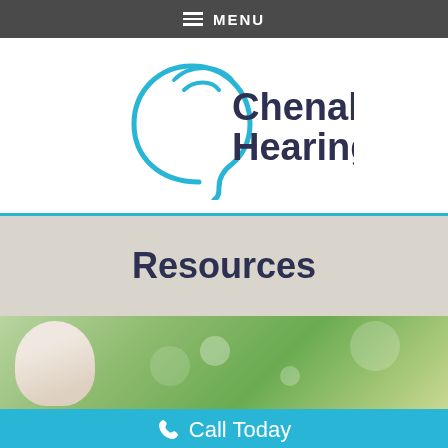MENU
[Figure (logo): Chenal Hearing logo with stylized ear graphic in blue and dark navy text reading 'Chenal Hearing']
Resources
[Figure (photo): Elderly person outdoors with blurred green bokeh background]
Call Today